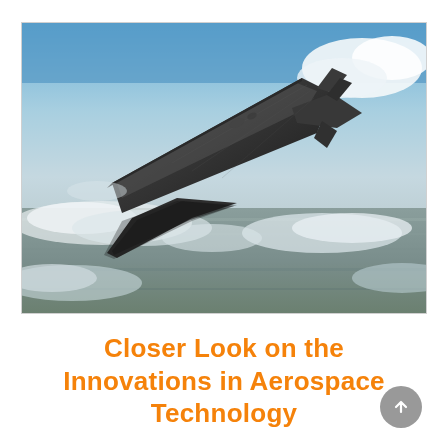[Figure (photo): A dark stealth aircraft (resembling a futuristic hypersonic jet) flying at high altitude above clouds and terrain, viewed from a slightly elevated angle. The aircraft has a sleek, angular design with swept wings and twin tail fins. The background shows a blue sky with scattered clouds and earth below.]
Closer Look on the Innovations in Aerospace Technology